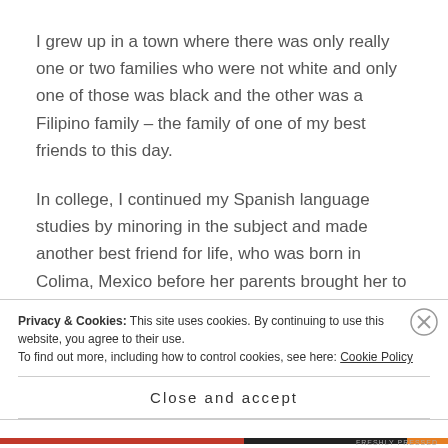I grew up in a town where there was only really one or two families who were not white and only one of those was black and the other was a Filipino family – the family of one of my best friends to this day.
In college, I continued my Spanish language studies by minoring in the subject and made another best friend for life, who was born in Colima, Mexico before her parents brought her to California in kindergarten. Her dad worked in fruit farming and I loved to hear about their family, culture... and the food we cooked together.
Privacy & Cookies: This site uses cookies. By continuing to use this website, you agree to their use.
To find out more, including how to control cookies, see here: Cookie Policy
Close and accept